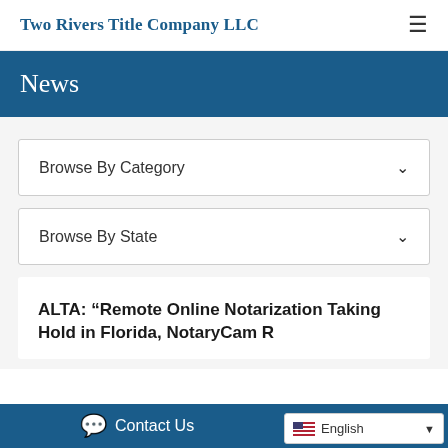Two Rivers Title Company LLC
News
Browse By Category
Browse By State
ALTA: “Remote Online Notarization Taking Hold in Florida, NotaryCam Reports”
Contact Us  English